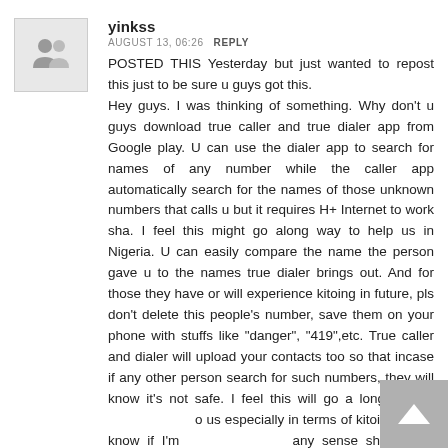[Figure (illustration): User avatar placeholder icon showing two silhouetted people on a light gray background with border]
yinkss
AUGUST 13, 06:26   REPLY
POSTED THIS Yesterday but just wanted to repost this just to be sure u guys got this.
Hey guys. I was thinking of something. Why don't u guys download true caller and true dialer app from Google play. U can use the dialer app to search for names of any number while the caller app automatically search for the names of those unknown numbers that calls u but it requires H+ Internet to work sha. I feel this might go along way to help us in Nigeria. U can easily compare the name the person gave u to the names true dialer brings out. And for those they have or will experience kitoing in future, pls don't delete this people's number, save them on your phone with stuffs like "danger", "419",etc. True caller and dialer will upload your contacts too so that incase if any other person search for such numbers, they will know it's not safe. I feel this will go a long way to help us especially in terms of kitoing. Don't know if I'm making any sense sha but I'll appreciate if PP can read this, research on it and maybe make a post about it so as to enlighten us all.